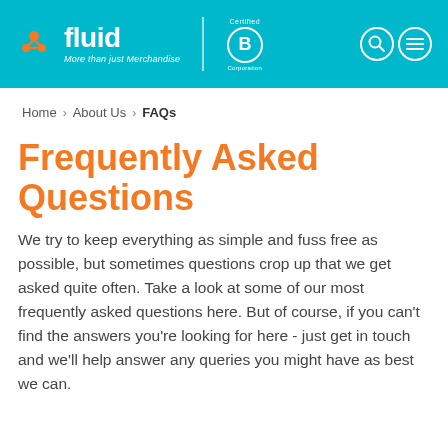[Figure (logo): Fluid company logo with orange icon, white 'fluid' wordmark, italic tagline 'More than just Merchandise', vertical divider, Certified B Corporation logo, and two navigation icons (search and menu) on a teal/cyan header bar]
Home > About Us > FAQs
Frequently Asked Questions
We try to keep everything as simple and fuss free as possible, but sometimes questions crop up that we get asked quite often. Take a look at some of our most frequently asked questions here. But of course, if you can’t find the answers you’re looking for here - just get in touch and we’ll help answer any queries you might have as best we can.